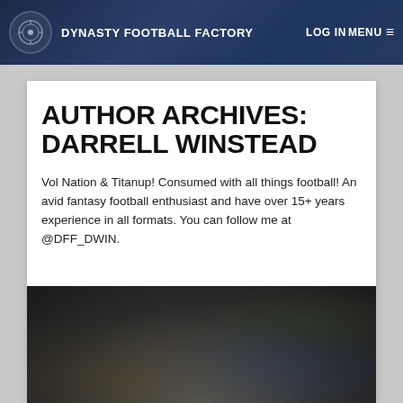DYNASTY FOOTBALL FACTORY | LOG IN | MENU
AUTHOR ARCHIVES: DARRELL WINSTEAD
Vol Nation & Titanup! Consumed with all things football! An avid fantasy football enthusiast and have over 15+ years experience in all formats. You can follow me at @DFF_DWIN.
[Figure (photo): Dark blurry photo of a football game with crowd in the background]